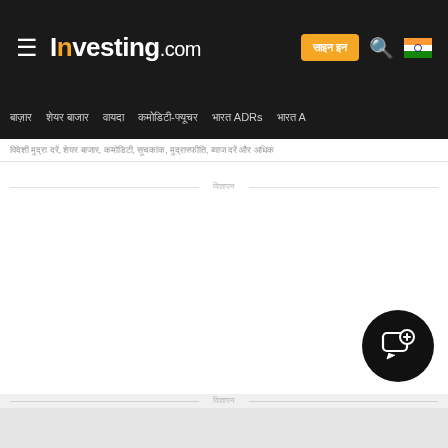Investing.com — navigation header with logo, PRO button, search, and India flag
बाज़ार  शेयर बाजार  वायदा  कमोडिटी-फ्यूचर  भारत ADRs  भारत A
विज्ञापन
[Figure (screenshot): White content area with ad placeholder and विज्ञापन divider label]
[Figure (screenshot): Circular chat/support button (black circle with chat icon) in bottom right]
विज्ञापन
[Figure (screenshot): Grey bottom advertisement area]